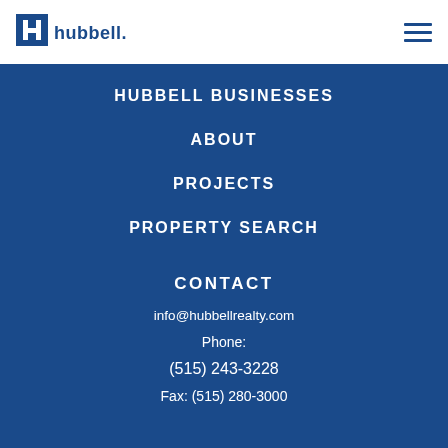[Figure (logo): Hubbell Realty company logo with blue square and letter H followed by 'hubbell.' text]
HUBBELL BUSINESSES
ABOUT
PROJECTS
PROPERTY SEARCH
CONTACT
info@hubbellrealty.com
Phone:
(515) 243-3228
Fax: (515) 280-3000